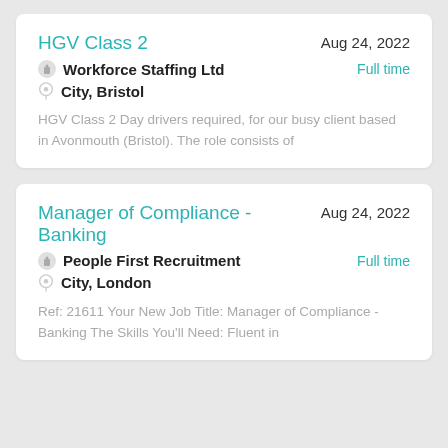HGV Class 2 | Aug 24, 2022 | Workforce Staffing Ltd | Full time | City, Bristol | HGV Class 2 Day drivers required, for our busy client based in Avonmouth (Bristol). The role consists of
Manager of Compliance - Banking | Aug 24, 2022 | People First Recruitment | Full time | City, London | Ref: 21611 Your New Job Title: Manager of Compliance - Banking The Skills You'll Need: Fluent in